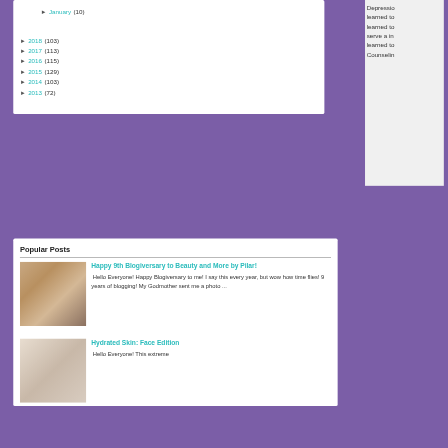► January (10)
► 2018 (103)
► 2017 (113)
► 2016 (115)
► 2015 (129)
► 2014 (103)
► 2013 (72)
Popular Posts
Happy 9th Blogiversary to Beauty and More by Pilar!
Hello Everyone! Happy Blogiversary to me! I say this every year, but wow how time flies! 9 years of blogging! My Godmother sent me a photo ...
Hydrated Skin: Face Edition
Hello Everyone! This extreme
Depressio learned to learned to serve a in learned to Counselin